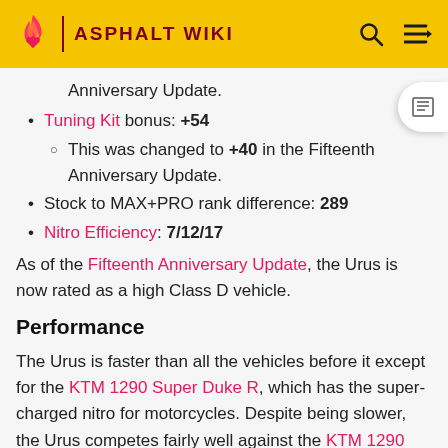ASPHALT WIKI
Anniversary Update.
Tuning Kit bonus: +54
This was changed to +40 in the Fifteenth Anniversary Update.
Stock to MAX+PRO rank difference: 289
Nitro Efficiency: 7/12/17
As of the Fifteenth Anniversary Update, the Urus is now rated as a high Class D vehicle.
Performance
The Urus is faster than all the vehicles before it except for the KTM 1290 Super Duke R, which has the supercharged nitro for motorcycles. Despite being slower, the Urus competes fairly well against the KTM 1290 Super